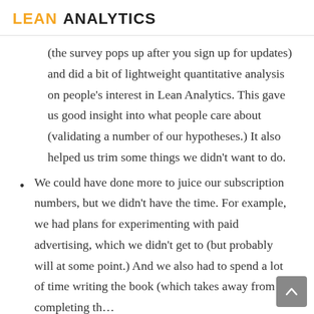LEAN ANALYTICS
(the survey pops up after you sign up for updates) and did a bit of lightweight quantitative analysis on people’s interest in Lean Analytics. This gave us good insight into what people care about (validating a number of our hypotheses.) It also helped us trim some things we didn’t want to do.
We could have done more to juice our subscription numbers, but we didn’t have the time. For example, we had plans for experimenting with paid advertising, which we didn’t get to (but probably will at some point.) And we also had to spend a lot of time writing the book (which takes away from completing the